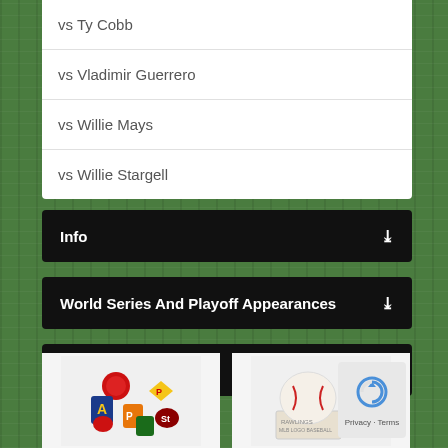vs Ty Cobb
vs Vladimir Guerrero
vs Willie Mays
vs Willie Stargell
Info
World Series And Playoff Appearances
Awards And Honors
[Figure (illustration): MLB team logos collage]
[Figure (photo): Rawlings baseball on display stand]